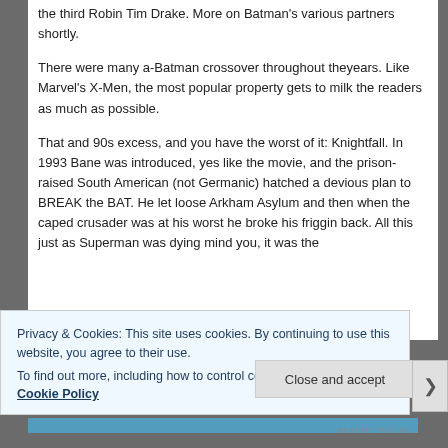the third Robin Tim Drake. More on Batman's various partners shortly.

There were many a-Batman crossover throughout theyears. Like Marvel's X-Men, the most popular property gets to milk the readers as much as possible.

That and 90s excess, and you have the worst of it: Knightfall. In 1993 Bane was introduced, yes like the movie, and the prison-raised South American (not Germanic) hatched a devious plan to BREAK the BAT. He let loose Arkham Asylum and then when the caped crusader was at his worst he broke his friggin back. All this just as Superman was dying mind you, it was the
Privacy & Cookies: This site uses cookies. By continuing to use this website, you agree to their use.
To find out more, including how to control cookies, see here: Cookie Policy